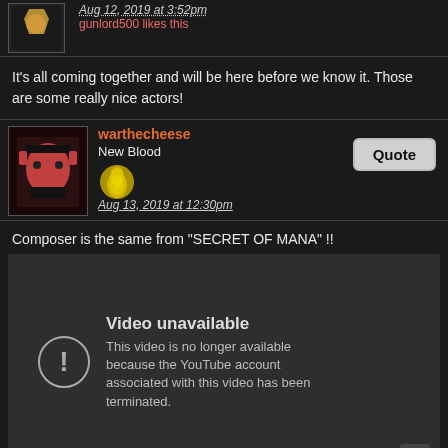Aug 12, 2019 at 3:52pm
gunlord500 likes this
It's all coming together and will be here before we know it. Those are some really nice actors!
warthecheese
New Blood
Aug 13, 2019 at 12:30pm
Composer is the same from "SECRET OF MANA" !!
[Figure (screenshot): YouTube embedded video player showing 'Video unavailable' error message: 'This video is no longer available because the YouTube account associated with this video has been terminated.']